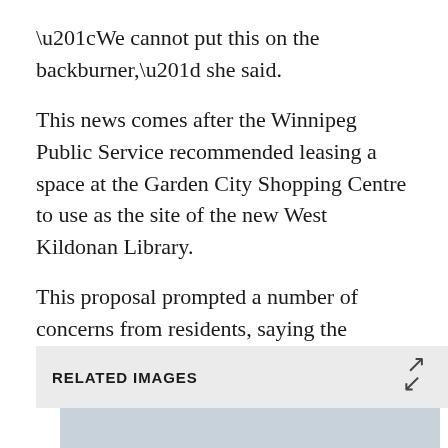“We cannot put this on the backburner,” she said.
This news comes after the Winnipeg Public Service recommended leasing a space at the Garden City Shopping Centre to use as the site of the new West Kildonan Library.
This proposal prompted a number of concerns from residents, saying the proposed library would be dark, small and inaccessible.
RELATED IMAGES
[Figure (photo): Exterior of the West Kildonan Public Library building, showing the building facade with a dark band, beige/tan stone exterior, and a blue sign reading 'Library' in white italic text.]